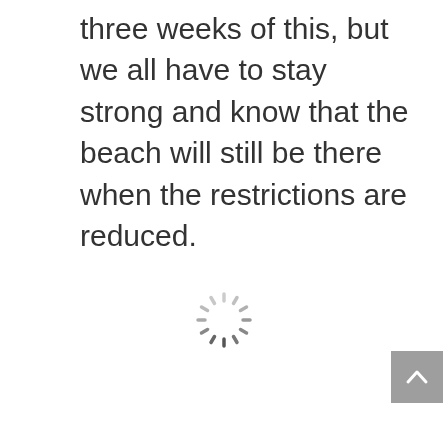three weeks of this, but we all have to stay strong and know that the beach will still be there when the restrictions are reduced.
[Figure (other): Loading spinner / activity indicator animation graphic in gray, shown as a circular arrangement of short dashes]